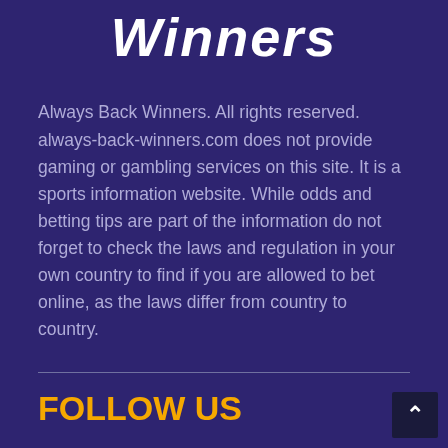Winners
Always Back Winners. All rights reserved. always-back-winners.com does not provide gaming or gambling services on this site. It is a sports information website. While odds and betting tips are part of the information do not forget to check the laws and regulation in your own country to find if you are allowed to bet online, as the laws differ from country to country.
FOLLOW US